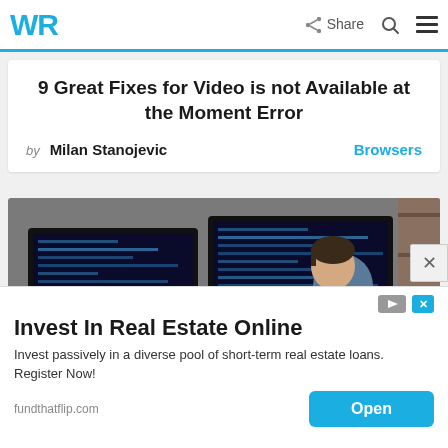WR | Share
9 Great Fixes for Video is not Available at the Moment Error
by Milan Stanojevic   Browsers
[Figure (photo): Man sitting at desk working with multiple monitors displaying code in a dark room]
Invest In Real Estate Online
Invest passively in a diverse pool of short-term real estate loans. Register Now!
fundthatflip.com   Open